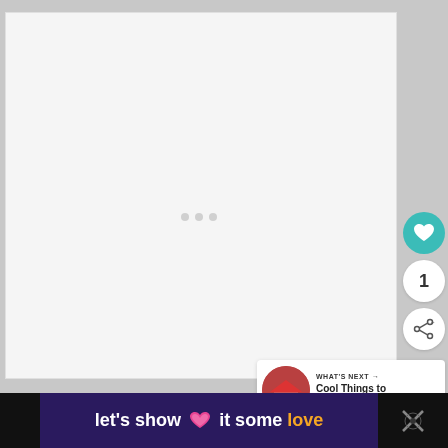[Figure (screenshot): White/light gray image placeholder area with three small loading dots in the center]
[Figure (infographic): Teal circular heart/like button on the right side]
1
[Figure (infographic): White circular share button with share icon]
[Figure (infographic): What's Next panel with thumbnail of red house and text 'Cool Things to Do in...']
[Figure (infographic): Bottom banner with purple background showing 'let’s show it some love' text with pink heart icon, dark sections on left and right]